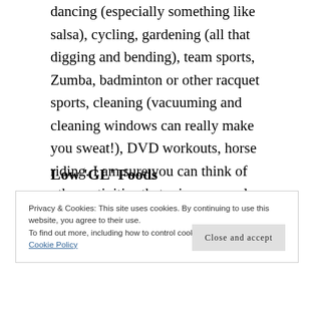dancing (especially something like salsa), cycling, gardening (all that digging and bending), team sports, Zumba, badminton or other racquet sports, cleaning (vacuuming and cleaning windows can really make you sweat!), DVD workouts, horse riding. I am sure you can think of other activities that raise your pulse and get you glowing!
Low 'GL' Foods
Privacy & Cookies: This site uses cookies. By continuing to use this website, you agree to their use.
To find out more, including how to control cookies, see here: Our Cookie Policy
Close and accept